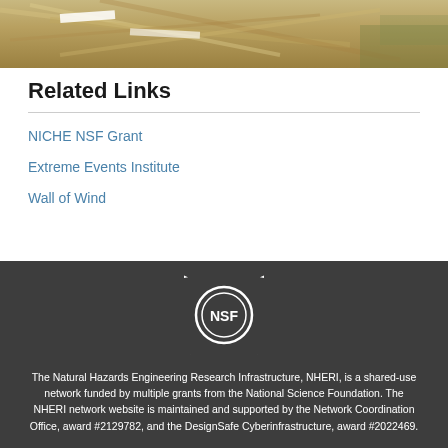[Figure (photo): Photograph of construction or debris materials, possibly aftermath of a natural hazard event, showing wooden planks and structural elements on sandy/muddy ground.]
Related Links
NICHE NSF Grant
Extreme Events Institute
Wall of Wind
[Figure (logo): NSF (National Science Foundation) circular logo in white with stars around the perimeter and NSF text in center.]
The Natural Hazards Engineering Research Infrastructure, NHERI, is a shared-use network funded by multiple grants from the National Science Foundation. The NHERI network website is maintained and supported by the Network Coordination Office, award #2129782, and the DesignSafe Cyberinfrastructure, award #2022469.